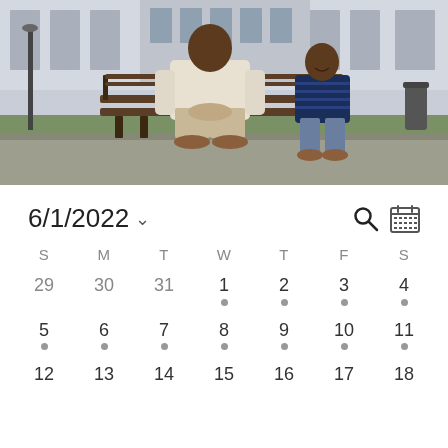[Figure (photo): A man and a young boy sitting on a park bench outdoors in front of a building. The man is wearing a light beige sweater and pants, the boy is wearing a navy striped shirt and jeans. They appear to be father and son.]
6/1/2022 ˅
| S | M | T | W | T | F | S |
| --- | --- | --- | --- | --- | --- | --- |
| 29 | 30 | 31 | 1 • | 2 • | 3 • | 4 • |
| 5 • | 6 • | 7 • | 8 • | 9 • | 10 • | 11 • |
| 12 | 13 | 14 | 15 | 16 | 17 | 18 |